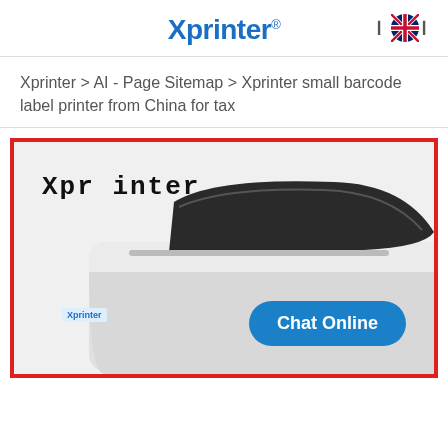Xprinter
Xprinter > AI - Page Sitemap > Xprinter small barcode label printer from China for tax
[Figure (photo): Product photo of an Xprinter small barcode label printer, white casing with black top panel, displayed against a light background. A 'Chat Online' button appears in the lower right corner. 'Xprinter' brand text shown in monospace font at upper left of the image area.]